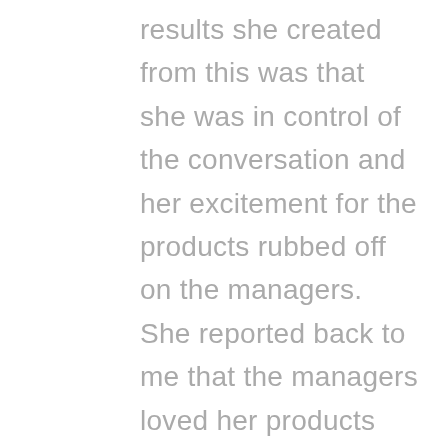results she created from this was that she was in control of the conversation and her excitement for the products rubbed off on the managers. She reported back to me that the managers loved her products and that she was going home to celebrate getting into this retail chain with some champaign. To sum up; by choosing to think those intentional thoughts, she manifested more abundance into her business through the contract